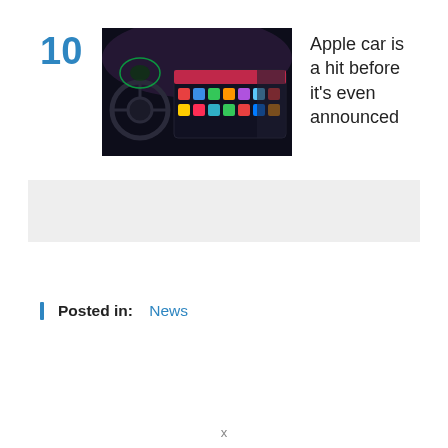10
[Figure (photo): Car interior dashboard with Apple CarPlay interface showing colorful app icons on a wide display screen, steering wheel visible on left, dark ambiance]
Apple car is a hit before it's even announced
[Figure (other): Advertisement banner placeholder, light gray background]
Posted in: News
x